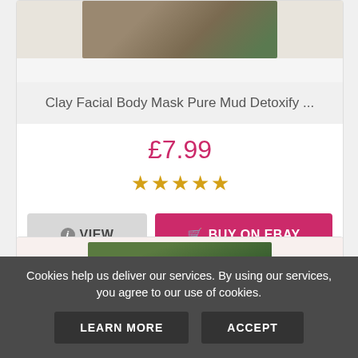[Figure (photo): Product image of clay/mud powder on a light surface, partially visible at top]
Clay Facial Body Mask Pure Mud Detoxify ...
£7.99
[Figure (other): Five gold star rating icons]
VIEW
BUY ON EBAY
[Figure (photo): Product image of a green clay facial mask, partially visible]
Cookies help us deliver our services. By using our services, you agree to our use of cookies.
LEARN MORE
ACCEPT